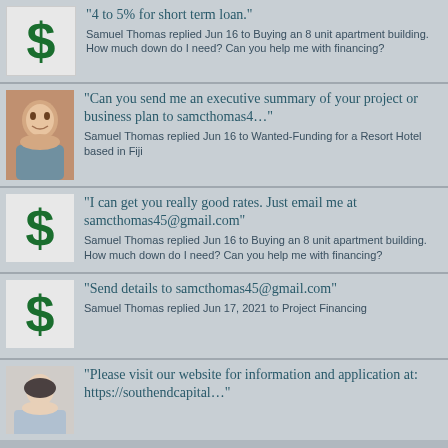"4 to 5% for short term loan."
Samuel Thomas replied Jun 16 to Buying an 8 unit apartment building. How much down do I need? Can you help me with financing?
"Can you send me an executive summary of your project or business plan to samcthomas4…"
Samuel Thomas replied Jun 16 to Wanted-Funding for a Resort Hotel based in Fiji
"I can get you really good rates.  Just email me at samcthomas45@gmail.com"
Samuel Thomas replied Jun 16 to Buying an 8 unit apartment building. How much down do I need? Can you help me with financing?
"Send details to samcthomas45@gmail.com"
Samuel Thomas replied Jun 17, 2021 to Project Financing
"Please visit our website for information and application at: https://southendcapital…"